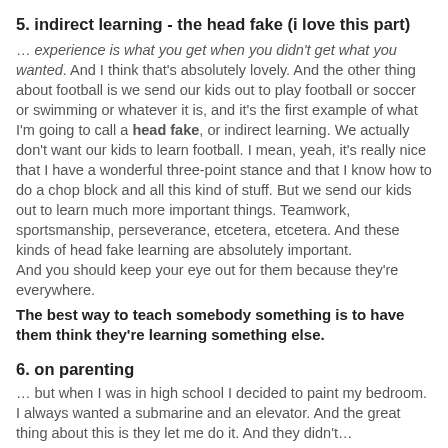5. indirect learning - the head fake (i love this part)
… experience is what you get when you didn't get what you wanted. And I think that's absolutely lovely. And the other thing about football is we send our kids out to play football or soccer or swimming or whatever it is, and it's the first example of what I'm going to call a head fake, or indirect learning. We actually don't want our kids to learn football. I mean, yeah, it's really nice that I have a wonderful three-point stance and that I know how to do a chop block and all this kind of stuff. But we send our kids out to learn much more important things. Teamwork, sportsmanship, perseverance, etcetera, etcetera. And these kinds of head fake learning are absolutely important.
And you should keep your eye out for them because they're everywhere.
The best way to teach somebody something is to have them think they're learning something else.
6. on parenting
… but when I was in high school I decided to paint my bedroom. I always wanted a submarine and an elevator. And the great thing about this is they let me do it. And they didn't…